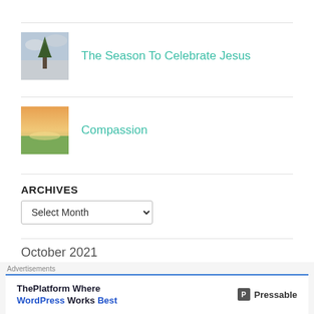[Figure (photo): Thumbnail image of a lone tree against a cloudy sky]
The Season To Celebrate Jesus
[Figure (photo): Thumbnail image of a field at sunset with colorful sky]
Compassion
ARCHIVES
Select Month
October 2021
M  T  W  T  F  S  S
[Figure (infographic): Advertisement banner: ThePlatform Where WordPress Works Best - Pressable]